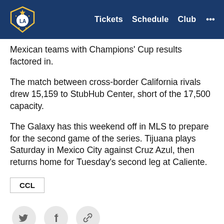LA Galaxy | Tickets  Schedule  Club  ...
Mexican teams with Champions' Cup results factored in.
The match between cross-border California rivals drew 15,159 to StubHub Center, short of the 17,500 capacity.
The Galaxy has this weekend off in MLS to prepare for the second game of the series. Tijuana plays Saturday in Mexico City against Cruz Azul, then returns home for Tuesday's second leg at Caliente.
CCL
[Figure (other): Social sharing icons: Twitter bird, Facebook f, and a link/chain icon, each in a light gray circle]